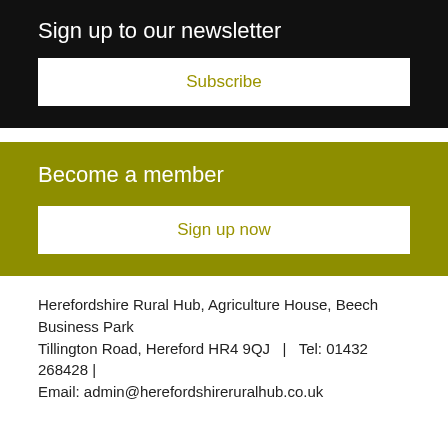Sign up to our newsletter
Subscribe
Become a member
Sign up now
Herefordshire Rural Hub, Agriculture House, Beech Business Park
Tillington Road, Hereford HR4 9QJ  |   Tel: 01432 268428 |
Email: admin@herefordshireruralhub.co.uk